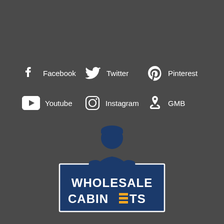[Figure (infographic): Social media links grid: Facebook, Twitter, Pinterest (row 1); Youtube, Instagram, GMB (row 2) with icons on dark gray background]
[Figure (logo): Wholesale Cabinets logo with mascot figure (man in beanie) above a dark blue rectangle containing WHOLESALE CABINETS text with orange stripe accent in CABINETS]